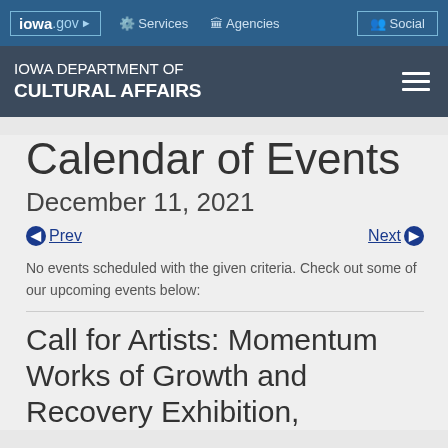iowa.gov | Services | Agencies | Social
IOWA DEPARTMENT OF CULTURAL AFFAIRS
Calendar of Events
December 11, 2021
◀ Prev   Next ▶
No events scheduled with the given criteria. Check out some of our upcoming events below:
Call for Artists: Momentum Works of Growth and Recovery Exhibition,